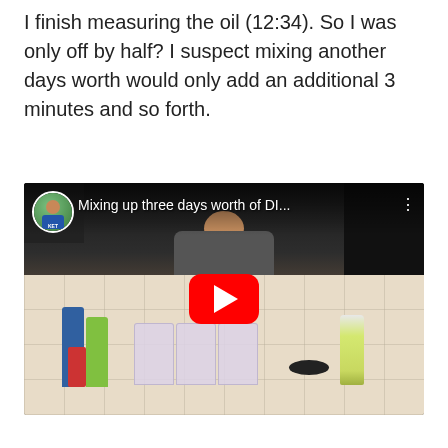I finish measuring the oil (12:34). So I was only off by half? I suspect mixing another days worth would only add an additional 3 minutes and so forth.
[Figure (screenshot): Embedded YouTube video thumbnail showing a person in a kitchen mixing ingredients. The video is titled 'Mixing up three days worth of DI...' with a YouTube play button overlay. A channel avatar is visible in the top left corner.]